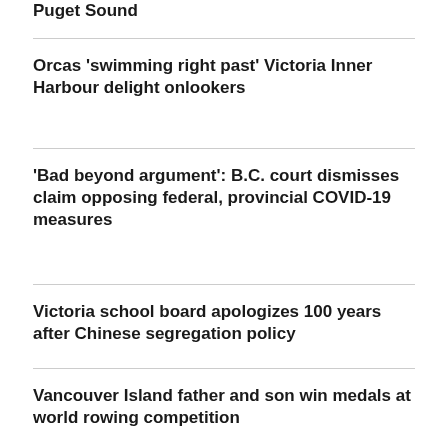Puget Sound
Orcas 'swimming right past' Victoria Inner Harbour delight onlookers
'Bad beyond argument': B.C. court dismisses claim opposing federal, provincial COVID-19 measures
Victoria school board apologizes 100 years after Chinese segregation policy
Vancouver Island father and son win medals at world rowing competition
Late season wildfires burning out of control